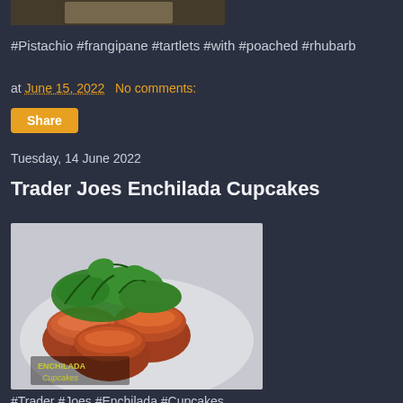[Figure (photo): Partial top image of pistachio frangipane tartlets with poached rhubarb (cropped, mostly cut off)]
#Pistachio #frangipane #tartlets #with #poached #rhubarb
at June 15, 2022   No comments:
Share
Tuesday, 14 June 2022
Trader Joes Enchilada Cupcakes
[Figure (photo): Enchilada cupcakes on a white plate topped with green cilantro herbs, with watermark text 'ENCHILADA Cupcakes']
#Trader #Joes #Enchilada #Cupcakes